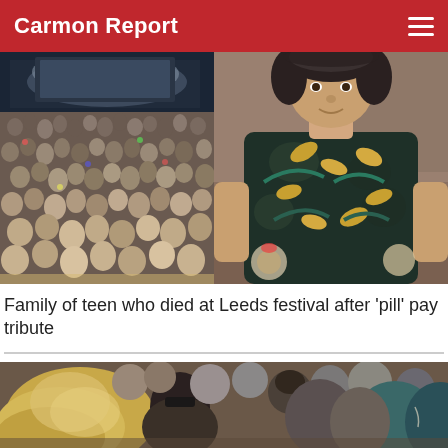Carmon Report
[Figure (photo): Two-panel image: left panel shows a large crowd at Leeds festival with a stage in the background; right panel shows a young man wearing a floral/tropical print shirt, seated indoors.]
Family of teen who died at Leeds festival after 'pill' pay tribute
[Figure (photo): Close-up of a crowd of people from behind and side, showing heads and shoulders of festival attendees.]